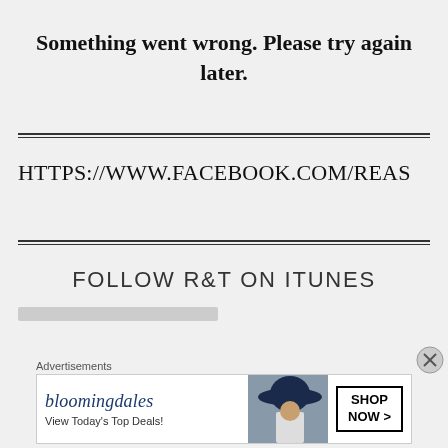Something went wrong. Please try again later.
HTTPS://WWW.FACEBOOK.COM/REAS
FOLLOW R&T ON ITUNES
Advertisements
[Figure (other): Bloomingdale's advertisement banner with hat model and SHOP NOW button]